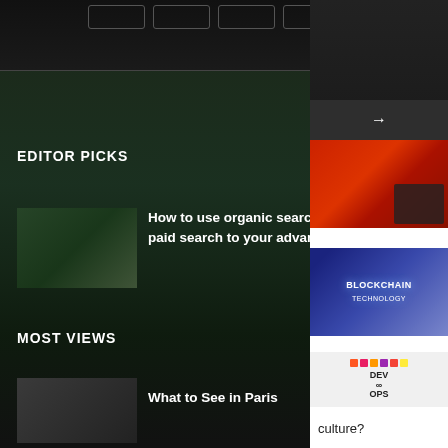[Figure (screenshot): Website screenshot with dark background showing navigation buttons at top]
EDITOR PICKS
How to use organic search results and paid search to your advantage
MOST VIEWS
What to See in Paris
[Figure (photo): Technology/electronics photo with red background on right sidebar]
[Figure (photo): Blockchain technology glowing image on right sidebar]
[Figure (photo): DevOps culture image with colorful tiles on right sidebar]
culture?